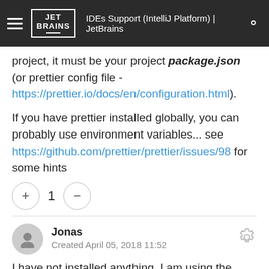IDEs Support (IntelliJ Platform) | JetBrains
project, it must be your project package.json (or prettier config file - https://prettier.io/docs/en/configuration.html).
If you have prettier installed globally, you can probably use environment variables... see https://github.com/prettier/prettier/issues/98 for some hints
[Figure (other): Vote buttons: plus button, count of 1, minus button]
Jonas
Created April 05, 2018 11:52
I have not installed anything. I am using the WebStorm IDE and with the latest update, it is